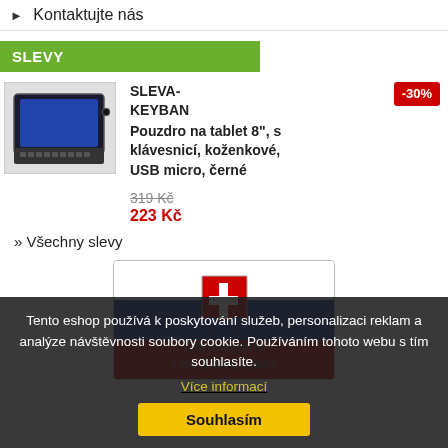Kontaktujte nás
SLEVY
[Figure (photo): Tablet case with keyboard, black, USB micro]
SLEVA-KEYBAN Pouzdro na tablet 8", s klávesnicí, koženkové, USB micro, černé -30% 319 Kč 223 Kč
» Všechny slevy
[Figure (illustration): Slovak flag banner with double cross shield, text: Doručujeme i na Slovensko!]
Tento eshop používá k poskytování služeb, personalizaci reklam a analýze návštěvnosti soubory cookie. Používáním tohoto webu s tím souhlasíte.
Více informací
Souhlasím